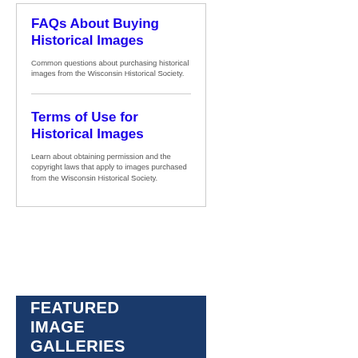FAQs About Buying Historical Images
Common questions about purchasing historical images from the Wisconsin Historical Society.
Terms of Use for Historical Images
Learn about obtaining permission and the copyright laws that apply to images purchased from the Wisconsin Historical Society.
[Figure (other): Dark blue banner with white bold text reading FEATURED IMAGE GALLERIES]